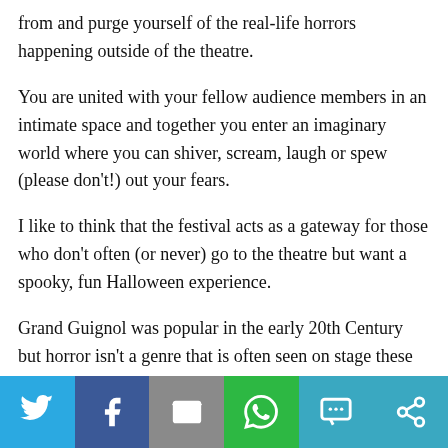from and purge yourself of the real-life horrors happening outside of the theatre.
You are united with your fellow audience members in an intimate space and together you enter an imaginary world where you can shiver, scream, laugh or spew (please don't!) out your fears.
I like to think that the festival acts as a gateway for those who don't often (or never) go to the theatre but want a spooky, fun Halloween experience.
Grand Guignol was popular in the early 20th Century but horror isn't a genre that is often seen on stage these days, why do you think that is?
To be honest, it is a tricky genre to perform well.
[Figure (infographic): Social sharing bar with six buttons: Twitter (blue), Facebook (dark blue), Email (grey), WhatsApp (green), SMS (blue), More/share (blue)]